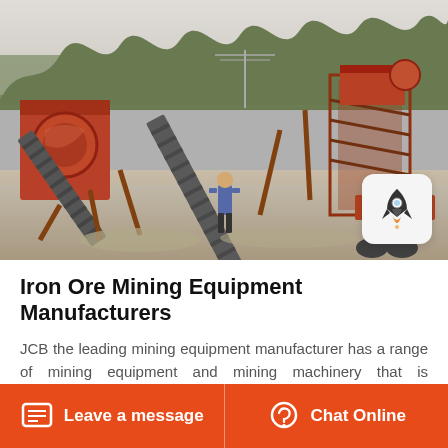[Figure (photo): Outdoor mining/quarrying site with large orange industrial conveyors, crushing equipment and scaffolding structures. A person in a blue shirt stands in the middle ground. Trees and overcast sky in background.]
Iron Ore Mining Equipment Manufacturers
JCB the leading mining equipment manufacturer has a range of mining equipment and mining machinery that is exceptionally suited for the stone quarrying and mining industry. From
Leave a message    Chat Online